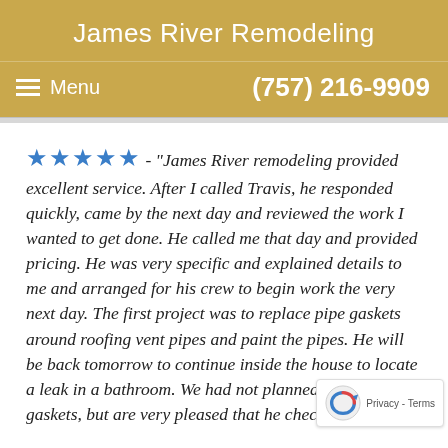James River Remodeling
≡ Menu    (757) 216-9909
★★★★★ - "James River remodeling provided excellent service. After I called Travis, he responded quickly, came by the next day and reviewed the work I wanted to get done. He called me that day and provided pricing. He was very specific and explained details to me and arranged for his crew to begin work the very next day. The first project was to replace pipe gaskets around roofing vent pipes and paint the pipes. He will be back tomorrow to continue inside the house to locate a leak in a bathroom. We had not planned to replace the gaskets, but are very pleased that he checked out the gaskets and replaced after he investigated and found them to be dry rotted. This effort will save us from a potential very costly problem